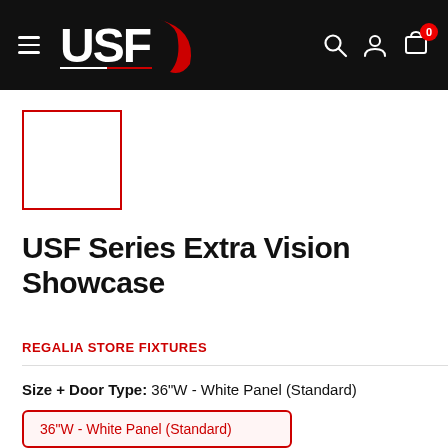USF store website header with logo, hamburger menu, search, account, and cart icons
[Figure (photo): Product image placeholder with red border outline, no image loaded]
USF Series Extra Vision Showcase
REGALIA STORE FIXTURES
Size + Door Type: 36"W - White Panel (Standard)
36"W - White Panel (Standard)